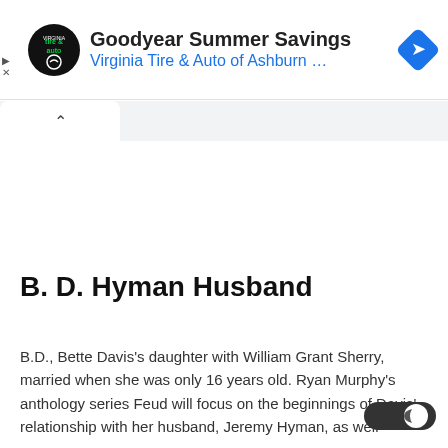[Figure (screenshot): Advertisement banner: Goodyear Summer Savings - Virginia Tire & Auto of Ashburn logo and blue navigation arrow icon]
B. D. Hyman Husband
B.D., Bette Davis's daughter with William Grant Sherry, married when she was only 16 years old. Ryan Murphy's anthology series Feud will focus on the beginnings of Davis' relationship with her husband, Jeremy Hyman, as well